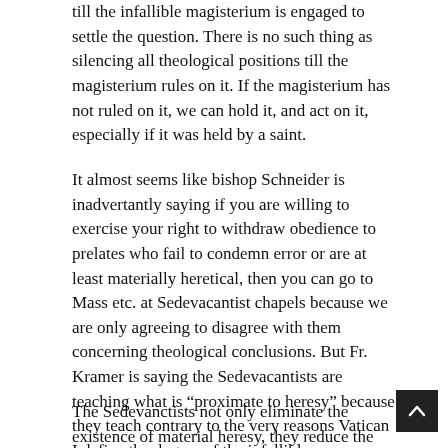till the infallible magisterium is engaged to settle the question. There is no such thing as silencing all theological positions till the magisterium rules on it. If the magisterium has not ruled on it, we can hold it, and act on it, especially if it was held by a saint.
It almost seems like bishop Schneider is inadvertantly saying if you are willing to exercise your right to withdraw obedience to prelates who fail to condemn error or are at least materially heretical, then you can go to Mass etc. at Sedevacantist chapels because we are only agreeing to disagree with them concerning theological conclusions. But Fr. Kramer is saying the Sedevacantists are teaching what is “proximate to heresy” because they teach contrary to the very reasons Vatican I define the dogma of the infallible pope.
The Sedevanctists not only eliminate the existence of material heresy, they reduce the magisterium to two infallible levels, eliminating the fallible level of the